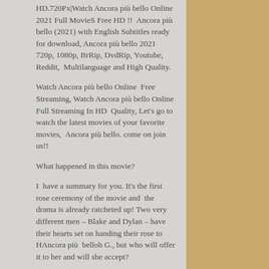HD.720Px|Watch Ancora più bello Online 2021 Full MovieS Free HD !!  Ancora più bello (2021) with English Subtitles ready for download, Ancora più bello 2021 720p, 1080p, BrRip, DvdRip, Youtube, Reddit,  Multilanguage and High Quality.
Watch Ancora più bello Online  Free Streaming, Watch Ancora più bello Online Full Streaming In HD  Quality, Let's go to watch the latest movies of your favorite movies,  Ancora più bello. come on join us!!
What happened in this movie?
I  have a summary for you. It's the first rose ceremony of the movie and  the drama is already ratcheted up! Two very different men – Blake and Dylan – have their hearts set on handing their rose to HAncora più  belloh G., but who will offer it to her and will she accept?
All About The movies